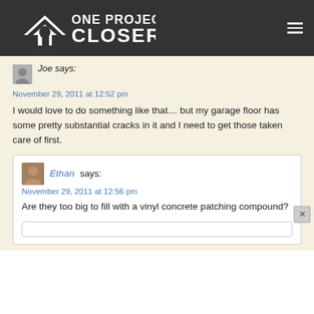ONE PROJECT CLOSER
Joe says:
November 29, 2011 at 12:52 pm

I would love to do something like that… but my garage floor has some pretty substantial cracks in it and I need to get those taken care of first.
Ethan says:
November 29, 2011 at 12:56 pm

Are they too big to fill with a vinyl concrete patching compound?